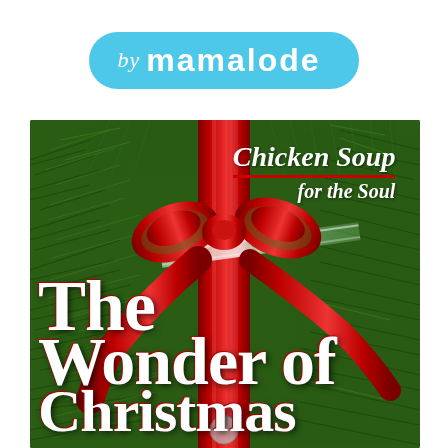[Figure (logo): Mamalode logo: blue pill-shaped badge with 'by mamalode' text in white on cyan/light blue background]
[Figure (illustration): Book cover for 'Chicken Soup for the Soul: The Wonder of Christmas' showing a Christmas wreath with red ribbon and bow against green pine branches, with white title text overlay]